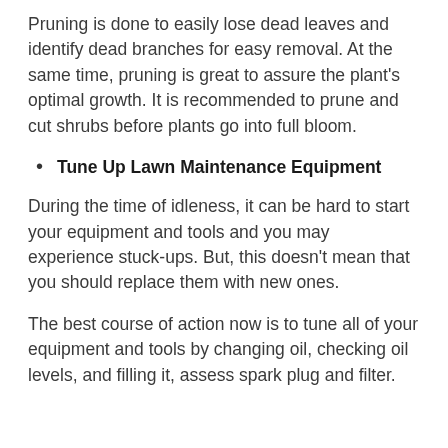Pruning is done to easily lose dead leaves and identify dead branches for easy removal. At the same time, pruning is great to assure the plant's optimal growth. It is recommended to prune and cut shrubs before plants go into full bloom.
Tune Up Lawn Maintenance Equipment
During the time of idleness, it can be hard to start your equipment and tools and you may experience stuck-ups. But, this doesn't mean that you should replace them with new ones.
The best course of action now is to tune all of your equipment and tools by changing oil, checking oil levels, and filling it, assess spark plug and filter.